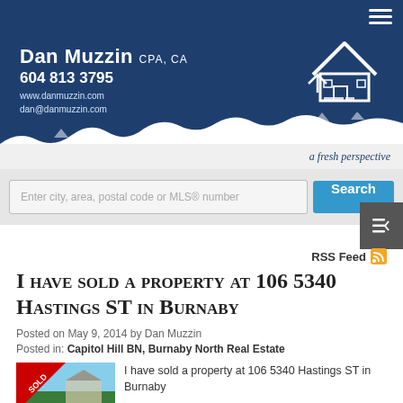Dan Muzzin CPA, CA | 604 813 3795 | www.danmuzzin.com | dan@danmuzzin.com | a fresh perspective
Enter city, area, postal code or MLS® number
RSS Feed
I have sold a property at 106 5340 Hastings ST in Burnaby
Posted on May 9, 2014 by Dan Muzzin
Posted in: Capitol Hill BN, Burnaby North Real Estate
I have sold a property at 106 5340 Hastings ST in Burnaby